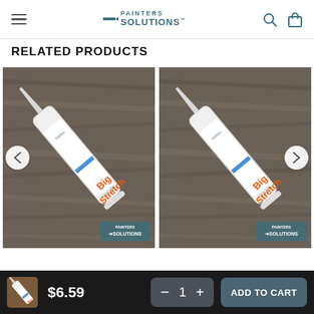Painters Solutions
RELATED PRODUCTS
[Figure (photo): Two tubes of Big Stretch caulk/sealant product on a wooden surface, shown side by side with navigation arrows]
$6.59
1
ADD TO CART